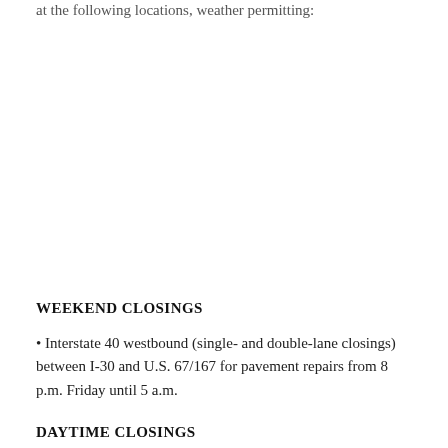at the following locations, weather permitting:
WEEKEND CLOSINGS
• Interstate 40 westbound (single- and double-lane closings) between I-30 and U.S. 67/167 for pavement repairs from 8 p.m. Friday until 5 a.m.
DAYTIME CLOSINGS